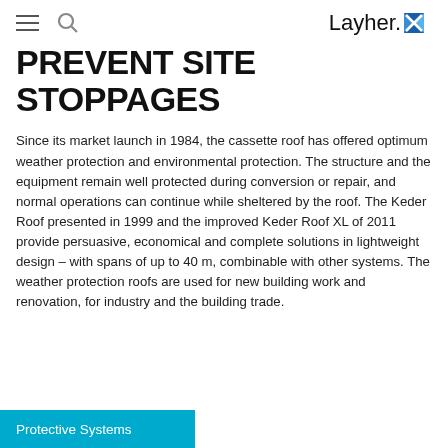Layher.
PREVENT SITE STOPPAGES
Since its market launch in 1984, the cassette roof has offered optimum weather protection and environmental protection. The structure and the equipment remain well protected during conversion or repair, and normal operations can continue while sheltered by the roof. The Keder Roof presented in 1999 and the improved Keder Roof XL of 2011 provide persuasive, economical and complete solutions in lightweight design – with spans of up to 40 m, combinable with other systems. The weather protection roofs are used for new building work and renovation, for industry and the building trade.
Protective Systems